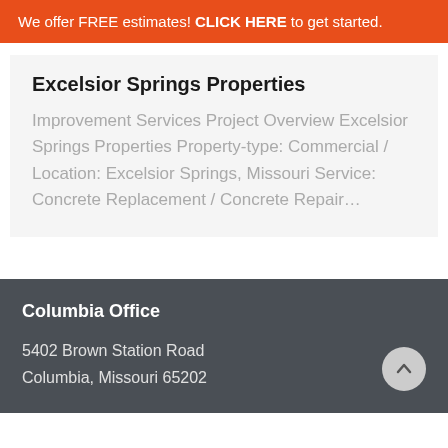We offer FREE estimates! CLICK HERE to get started.
Excelsior Springs Properties
Improvement Services Project Overview Excelsior Springs Properties Property-type: Commercial / Location: Excelsior Springs, Missouri Service: Concrete Replacement / Concrete Repair…
Columbia Office
5402 Brown Station Road
Columbia, Missouri 65202